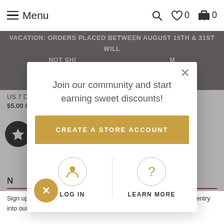Menu  0  0
VACATION: ORDERS PLACED BETWEEN AUGUST 15TH & 31ST WILL NOT SHI... M VACATION... ABLE DURING T... TH
US 7 Driftw...
$5.00 CAD
[Figure (infographic): Modal popup: Join our community and start earning sweet discounts! with CREATE A STORE ACCOUNT button, LOG IN and LEARN MORE links]
N... & UPDATES
Sign up to get the latest on sales, new releases, events & automatic entry into our monthy subscriber giveaway! Each month witll be a different product from the winners and we...